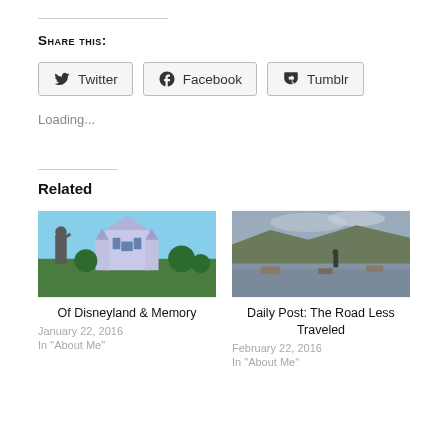Share this:
Twitter
Facebook
Tumblr
Loading...
Related
[Figure (photo): Statue of Walt Disney and Mickey Mouse in front of Disneyland castle]
Of Disneyland & Memory
January 22, 2016
In "About Me"
[Figure (photo): Aerial view of a disaster scene with flooding and smoke]
Daily Post: The Road Less Traveled
February 22, 2016
In "About Me"